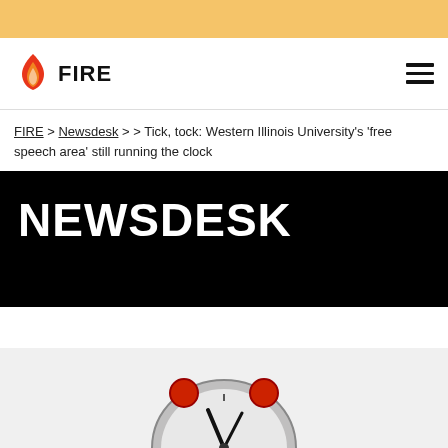FIRE (logo and navigation bar)
FIRE > Newsdesk > > Tick, tock: Western Illinois University's 'free speech area' still running the clock
NEWSDESK
[Figure (photo): Partial view of a red alarm clock at the bottom of the page against a light gray background]